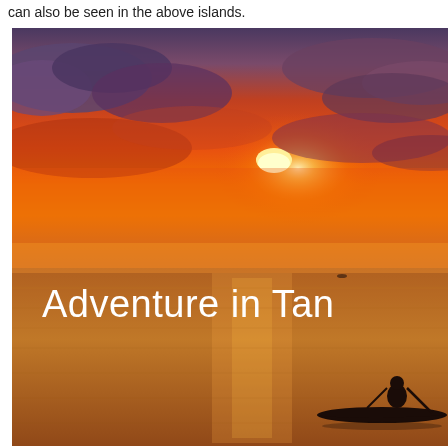can also be seen in the above islands.
[Figure (photo): A vibrant orange and red sunset over water with dramatic clouds. A silhouette of a person on a small boat or canoe is visible in the lower right portion of the image. White text overlaid on the image reads 'Adventure in Tan...' (partially cropped).]